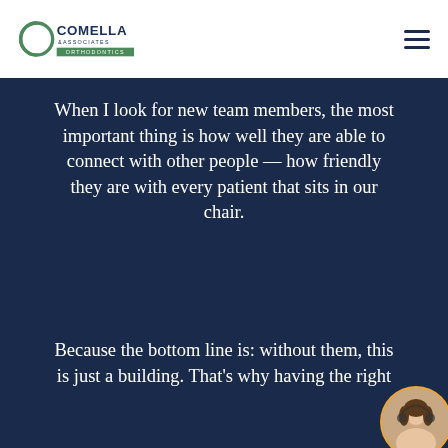[Figure (logo): Comella & Associates Orthodontics logo with circular C icon and text]
When I look for new team members, the most important thing is how well they are able to connect with other people — how friendly they are with every patient that sits in our chair.
Because the bottom line is: without them, this is just a building. That's why having the right people is so important to
[Figure (photo): Small circular avatar photo of a woman wearing a headset, positioned in bottom-right corner]